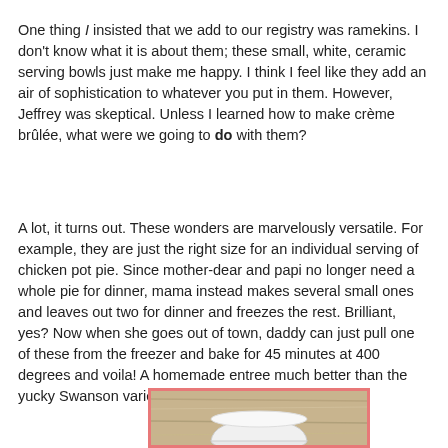One thing I insisted that we add to our registry was ramekins. I don't know what it is about them; these small, white, ceramic serving bowls just make me happy. I think I feel like they add an air of sophistication to whatever you put in them. However, Jeffrey was skeptical. Unless I learned how to make crème brûlée, what were we going to do with them?
A lot, it turns out. These wonders are marvelously versatile. For example, they are just the right size for an individual serving of chicken pot pie. Since mother-dear and papi no longer need a whole pie for dinner, mama instead makes several small ones and leaves out two for dinner and freezes the rest. Brilliant, yes? Now when she goes out of town, daddy can just pull one of these from the freezer and bake for 45 minutes at 400 degrees and voila! A homemade entree much better than the yucky Swanson variety.
[Figure (photo): A photo with a pink/red border showing a white ramekin on a wooden surface background.]